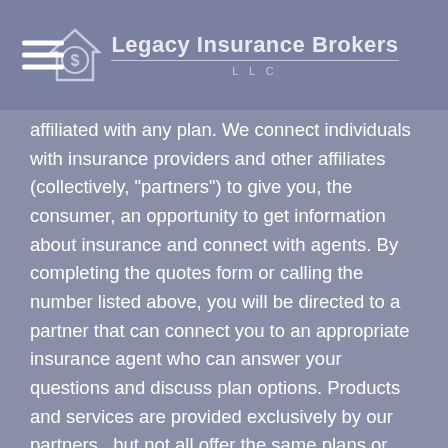[Figure (logo): Legacy Insurance Brokers LLC logo with house/dollar sign icon and company name]
affiliated with any plan. We connect individuals with insurance providers and other affiliates (collectively, "partners") to give you, the consumer, an opportunity to get information about insurance and connect with agents. By completing the quotes form or calling the number listed above, you will be directed to a partner that can connect you to an appropriate insurance agent who can answer your questions and discuss plan options. Products and services are provided exclusively by our partners , but not all offer the same plans or options. Descriptions are for informational purposes only and subject to change. We encourage you to shop around and explore all of your options. We are not affiliated with or endorsed by any government entity or agency. By using this site, you acknowledge that you have read and agree to the Privacy Policy and Terms & Conditions.